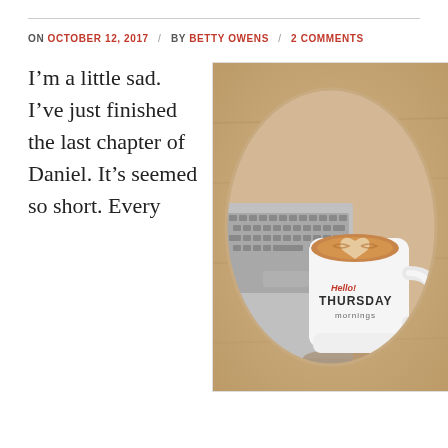ON OCTOBER 12, 2017 / BY BETTY OWENS / 2 COMMENTS
I'm a little sad. I've just finished the last chapter of Daniel. It's seemed so short. Every
[Figure (photo): A white coffee mug with 'Hello! THURSDAY mornings' text sitting on a wooden surface next to a laptop keyboard, with latte art visible. The image is cropped in an oval shape within a rectangular border.]